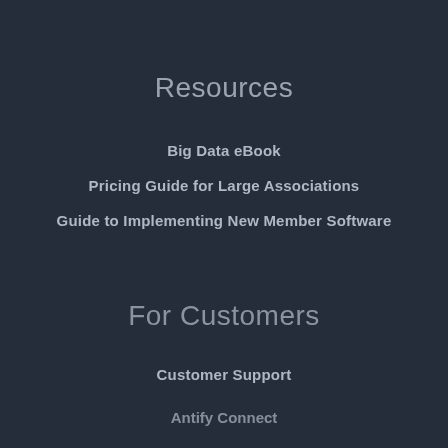Resources
Big Data eBook
Pricing Guide for Large Associations
Guide to Implementing New Member Software
For Customers
Customer Support
Antify Connect